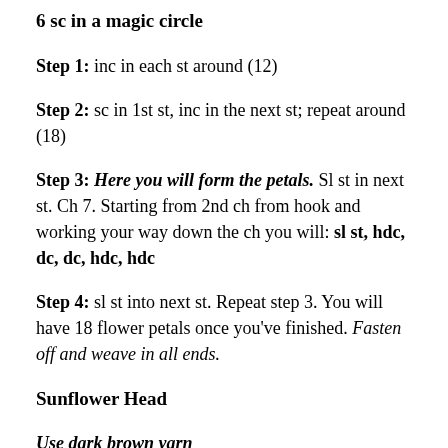6 sc in a magic circle
Step 1: inc in each st around (12)
Step 2: sc in 1st st, inc in the next st; repeat around (18)
Step 3: Here you will form the petals. Sl st in next st. Ch 7. Starting from 2nd ch from hook and working your way down the ch you will: sl st, hdc, dc, dc, hdc, hdc
Step 4: sl st into next st. Repeat step 3. You will have 18 flower petals once you've finished. Fasten off and weave in all ends.
Sunflower Head
Use dark brown yarn